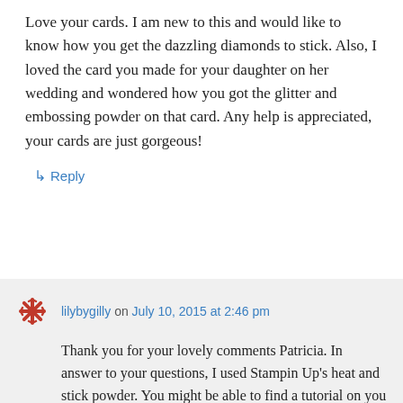Love your cards. I am new to this and would like to know how you get the dazzling diamonds to stick. Also, I loved the card you made for your daughter on her wedding and wondered how you got the glitter and embossing powder on that card. Any help is appreciated, your cards are just gorgeous!
↳ Reply
lilybygilly on July 10, 2015 at 2:46 pm
Thank you for your lovely comments Patricia. In answer to your questions, I used Stampin Up's heat and stick powder. You might be able to find a tutorial on you